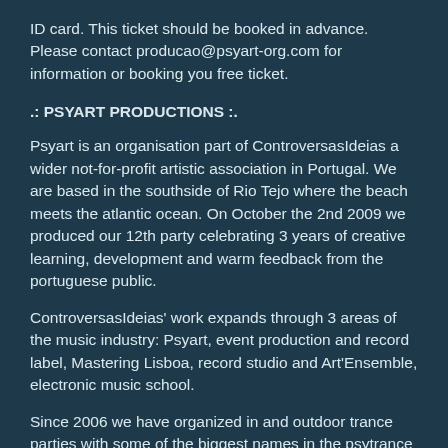ID card. This ticket should be booked in advance. Please contact producao@psyart-org.com for information or booking you free ticket.
.: PSYART PRODUCTIONS :.
Psyart is an organisation part of ControversasIdeias a wider not-for-profit artistic association in Portugal. We are based in the southside of Rio Tejo where the beach meets the atlantic ocean. On October the 2nd 2009 we produced our 12th party celebrating 3 years of creative learning, development and warm feedback from the portuguese public.
ControversasIdeias' work expands through 3 areas of the music industry: Psyart, event production and record label, Mastering Lisboa, record studio and Art'Ensemble, electronic music school.
Since 2006 we have organized in and outdoor trance parties with some of the biggest names in the psytrance scene and collaborated in many musical events with other event producers such as Festival Avis A Rasgar, Tribus Urbanas, Crystal Matrix,